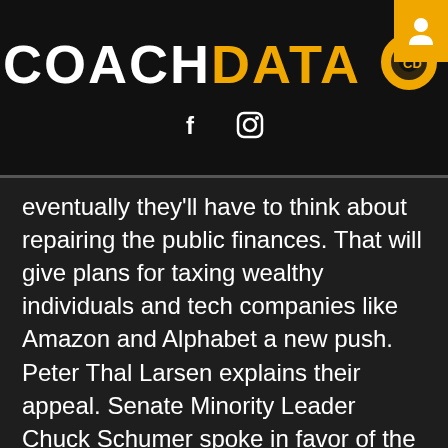[Figure (logo): CoachData logo with white COACH text and gold DATA text, accompanied by a circular CD icon. Below are Facebook and Instagram social icons.]
eventually they'll have to think about repairing the public finances. That will give plans for taxing wealthy individuals and tech companies like Amazon and Alphabet a new push. Peter Thal Larsen explains their appeal. Senate Minority Leader Chuck Schumer spoke in favor of the latest proposal for the next phase of coronavirus disease relief legislation introduced by House Speaker Nancy Pelosi. The senator also called out both U.S. President Donald Trump and Senate Majority Leader Mitch